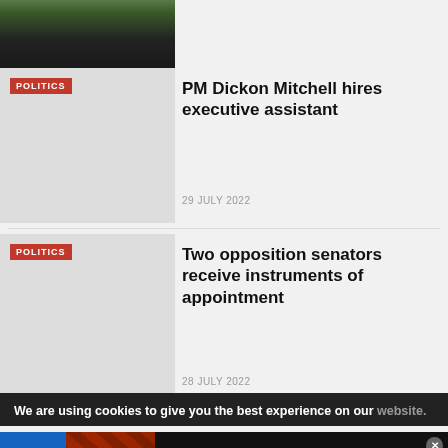[Figure (photo): Partial top crop of a photo showing people, cut off at top of page]
[Figure (photo): Thumbnail image for politics article about PM Dickon Mitchell with POLITICS tag]
PM Dickon Mitchell hires executive assistant
29 JULY 2022
[Figure (photo): Thumbnail image for politics article about senators with POLITICS tag]
Two opposition senators receive instruments of appointment
28 JULY 2022
We are using cookies to give you the best experience on our website.
[Figure (screenshot): Infolinks advertisement banner with seamless food delivery ad showing pizza, seamless logo button, and ORDER NOW button]